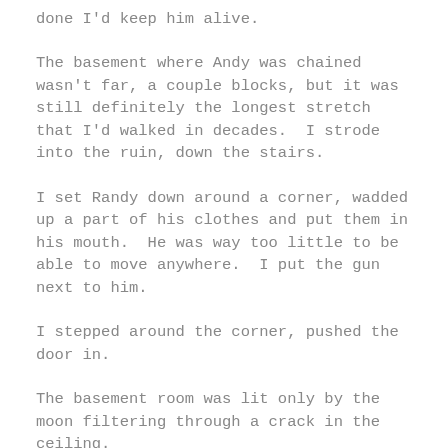done I'd keep him alive.
The basement where Andy was chained wasn't far, a couple blocks, but it was still definitely the longest stretch that I'd walked in decades.  I strode into the ruin, down the stairs.
I set Randy down around a corner, wadded up a part of his clothes and put them in his mouth.  He was way too little to be able to move anywhere.  I put the gun next to him.
I stepped around the corner, pushed the door in.
The basement room was lit only by the moon filtering through a crack in the ceiling.